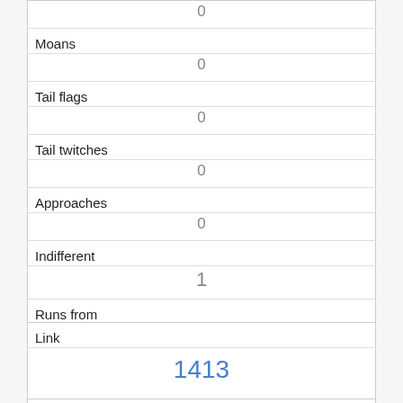| Moans | 0 |
| Tail flags | 0 |
| Tail twitches | 0 |
| Approaches | 0 |
| Indifferent | 1 |
| Runs from | 0 |
| Other Interactions |  |
| Lat/Long | POINT (-73.9810149147578 40.7683925377714) |
| Link | 1413 |